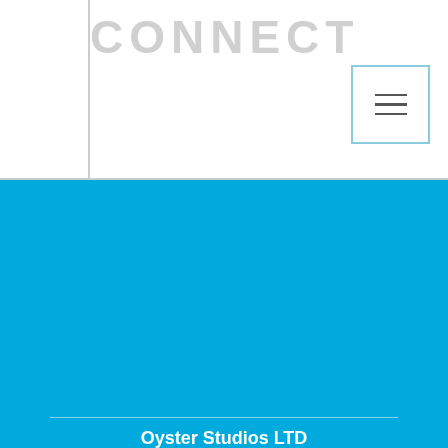CONNECT
[Figure (other): Hamburger menu icon in a square bordered box]
Oyster Studios LTD
3 Thompsons Close
Harpenden
Hertfordshire
England
AL5 4ES
T: +44 (0)1582 761212
F: +44 (0)1582 761357
We use cookies to personalise content and ads, to provide social media features and to analyse our traffic. We also share information about your use of our site with our social media, advertising and analytics partners.
View | ✓ Accept Cookies | ×